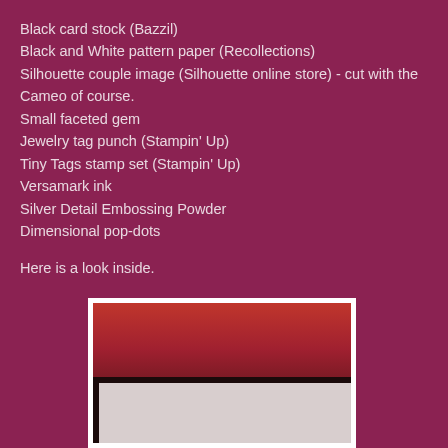Black card stock (Bazzil)
Black and White pattern paper (Recollections)
Silhouette couple image (Silhouette online store) - cut with the Cameo of course.
Small faceted gem
Jewelry tag punch (Stampin' Up)
Tiny Tags stamp set (Stampin' Up)
Versamark ink
Silver Detail Embossing Powder
Dimensional pop-dots
Here is a look inside.
[Figure (photo): Partial view of inside of a card showing red top section, black dividing bar, and light pinkish-white lower section]